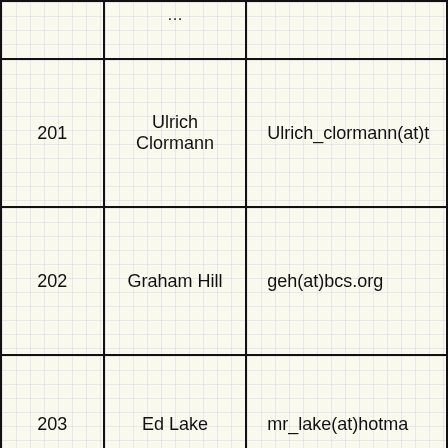| # | Name | Email |
| --- | --- | --- |
|  |  |  |
| 201 | Ulrich Clormann | Ulrich_clormann(at)t… |
| 202 | Graham Hill | geh(at)bcs.org… |
| 203 | Ed Lake | mr_lake(at)hotma… |
|  |  |  |